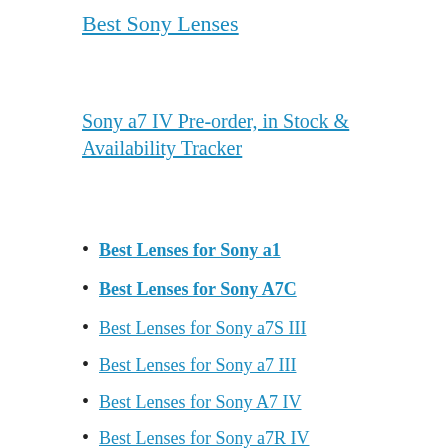Best Sony Lenses
Sony a7 IV Pre-order, in Stock & Availability Tracker
Best Lenses for Sony a1
Best Lenses for Sony A7C
Best Lenses for Sony a7S III
Best Lenses for Sony a7 III
Best Lenses for Sony A7 IV
Best Lenses for Sony a7R IV
Memory Cards
Best Memory Cards for Sony a1
Best Memory Cards for Sony a7C